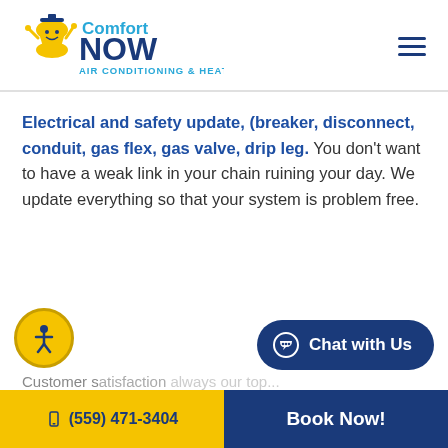[Figure (logo): Comfort NOW Air Conditioning & Heating logo with hourglass mascot character]
Electrical and safety update, (breaker, disconnect, conduit, gas flex, gas valve, drip leg. You don't want to have a weak link in your chain ruining your day. We update everything so that your system is problem free.
[Figure (illustration): Yellow circle accessibility icon button with person figure]
[Figure (illustration): Dark blue Chat with Us button with chat bubble icon]
(559) 471-3404   Book Now!